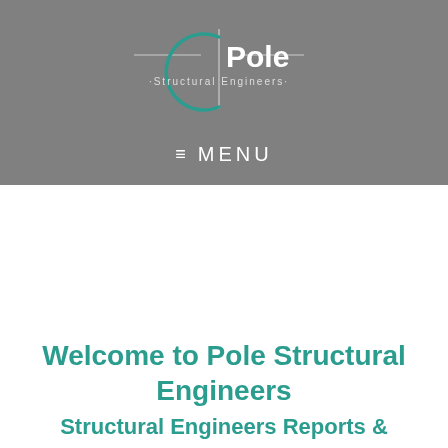[Figure (logo): Pole Structural Engineers logo — teal crescent/circle with horizontal lines and vertical line forming a cross, with text 'Pole' and 'Structural Engineers' inside]
≡ MENU
Welcome to Pole Structural Engineers
Structural Engineers Reports &